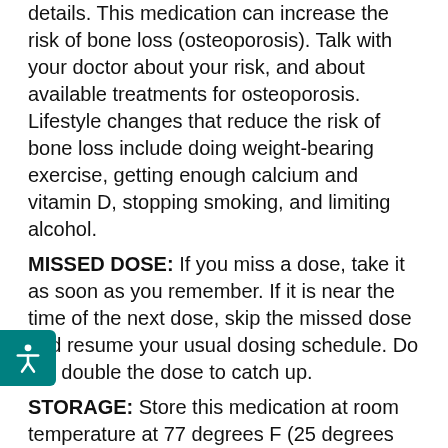details. This medication can increase the risk of bone loss (osteoporosis). Talk with your doctor about your risk, and about available treatments for osteoporosis. Lifestyle changes that reduce the risk of bone loss include doing weight-bearing exercise, getting enough calcium and vitamin D, stopping smoking, and limiting alcohol.
MISSED DOSE: If you miss a dose, take it as soon as you remember. If it is near the time of the next dose, skip the missed dose and resume your usual dosing schedule. Do not double the dose to catch up.
STORAGE: Store this medication at room temperature at 77 degrees F (25 degrees C) away from light and moisture. Brief storage between 59-86 degrees F (15-30 degrees C) is permitted. Do not store in the bathroom. Keep all medicines away from children and pets. Do not flush medications down the toilet or pour them into a drain unless instructed to do so. Properly discard this product when it is expired or no longer needed. Consult your pharmacist or local waste disposal company for more details about how to safely discard your product.